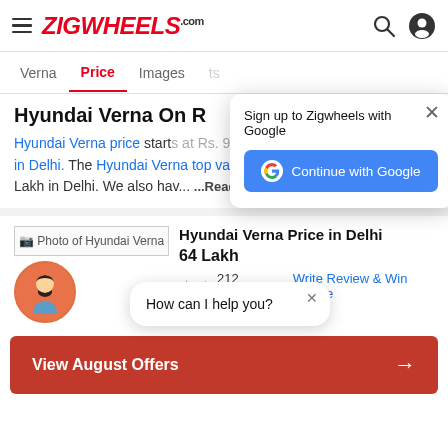ZIGWHEELS.com
Verna | Price | Images
Hyundai Verna On R...
Hyundai Verna price starts at Rs. 9.40 Lakh in Hyundai showrooms in Delhi. The Hyundai Verna top variant price goes upto Rs. 15.44 Lakh in Delhi. We also hav... Read More
[Figure (screenshot): Google sign-in popup: 'Sign up to Zigwheels with Google' with Continue with Google blue button]
Photo of Hyundai Verna
Hyundai Verna Price in Delhi
64 Lakh
[Figure (illustration): User avatar icon with orange/beige circle and person silhouette]
212 reviews   Write Review & Win iPhone
[Figure (screenshot): Chat popup: 'How can I help you?' with close X button]
View August Offers →